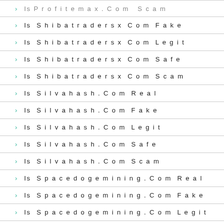Is Profitemax.Com Scam
Is Shibatradersx Com Fake
Is Shibatradersx Com Legit
Is Shibatradersx Com Safe
Is Shibatradersx Com Scam
Is Silvahash.Com Real
Is Silvahash.Com Fake
Is Silvahash.Com Legit
Is Silvahash.Com Safe
Is Silvahash.Com Scam
Is Spacedogemining.Com Real
Is Spacedogemining.Com Fake
Is Spacedogemining.Com Legit
Is Spacedogemining.Com Safe